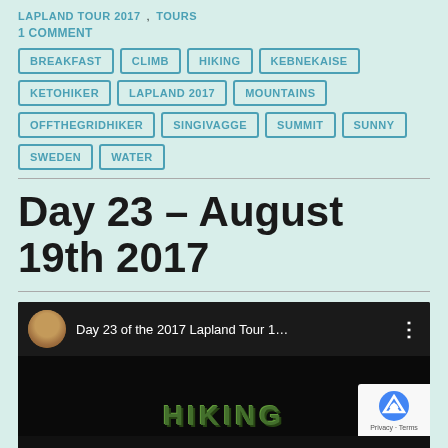LAPLAND TOUR 2017, TOURS
1 COMMENT
BREAKFAST | CLIMB | HIKING | KEBNEKAISE | KETOHIKER | LAPLAND 2017 | MOUNTAINS | OFFTHEGRIDHIKER | SINGIVAGGE | SUMMIT | SUNNY | SWEDEN | WATER
Day 23 – August 19th 2017
[Figure (screenshot): YouTube video embed showing 'Day 23 of the 2017 Lapland Tour 1...' with a profile avatar of a person with curly hair, a three-dot menu icon, and green stylized text overlay at the bottom. A reCAPTCHA badge is visible in the bottom right corner.]